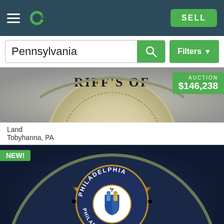[Figure (screenshot): Mobile app navigation bar with hamburger menu, green logo icon, and green SELL button on dark teal background]
Pennsylvania
[Figure (photo): Partial sheriff badge with text RIFF'S OF visible, showing metallic badge with wreath decoration]
AUCTION
$146,238
Land
Tobyhanna, PA
NEW!
[Figure (photo): Philadelphia Sheriff Office star badge on dark navy background, showing gold star with Philadelphia city seal in center and text PHILADELPHIA SHERIFF'S OFFICE]
MAP